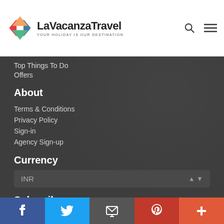LaVacanzaTravel — YOUR HOLIDAY IS OUR DESTINATION
Top Things To Do
Offers
About
Terms & Conditions
Privacy Policy
Sign-in
Agency Sign-up
Currency
INR
Subscribe
Keep up to date with all that's going on at La Vacanza
Facebook Twitter Email Pinterest Plus